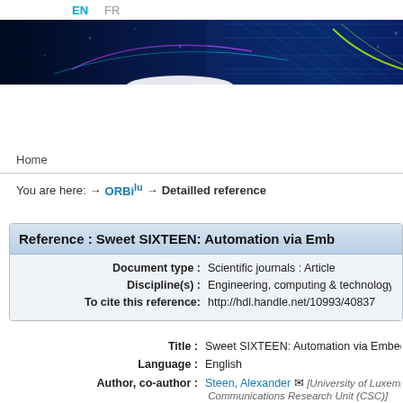EN  FR
[Figure (illustration): Blue technology banner with digital/network patterns, geometric grids, and colorful light streaks (cyan, purple, yellow-green) on dark blue background.]
Home
You are here:  → ORBilu  → Detailled reference
Reference : Sweet SIXTEEN: Automation via Emb…
| Document type : | Scientific journals : Article |
| Discipline(s) : | Engineering, computing & technology… |
| To cite this reference: | http://hdl.handle.net/10993/40837 |
Title :  Sweet SIXTEEN: Automation via Embedd…
Language :  English
Author, co-author :  Steen, Alexander [University of Luxembourg — Communications Research Unit (CSC)]